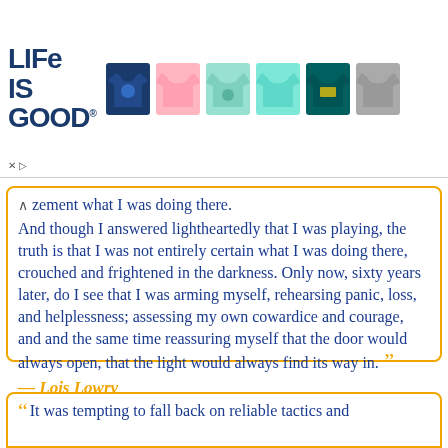[Figure (infographic): Life is Good brand advertisement banner with logo and six t-shirt product images in various colors (navy, pink, mint, teal/aqua, teal, grey)]
zement what I was doing there.
And though I answered lightheartedly that I was playing, the truth is that I was not entirely certain what I was doing there, crouched and frightened in the darkness. Only now, sixty years later, do I see that I was arming myself, rehearsing panic, loss, and helplessness; assessing my own cowardice and courage, and and the same time reassuring myself that the door would always open, that the light would always find its way in.
— Lois Lowry
It was tempting to fall back on reliable tactics and